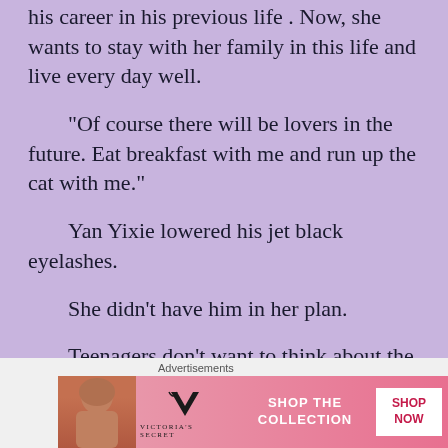his career in his previous life . Now, she wants to stay with her family in this life and live every day well.
“Of course there will be lovers in the future. Eat breakfast with me and run up the cat with me.”
Yan Yixie lowered his jet black eyelashes.
She didn’t have him in her plan.
Teenagers don’t want to think about the future, and they don’t want time to pass too fast. Once they grow up, there will be many
[Figure (other): Victoria's Secret advertisement banner with pink background, model photo, VS logo, SHOP THE COLLECTION text, and SHOP NOW button]
Advertisements